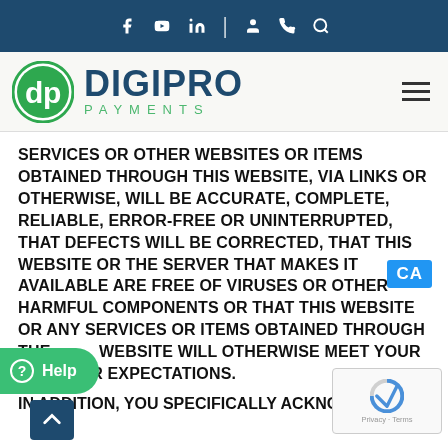Navigation bar with social/contact icons: Facebook, YouTube, LinkedIn | profile, phone, search
[Figure (logo): DigiPro Payments logo: green circle with 'dp' letters and text DIGIPRO PAYMENTS]
SERVICES OR OTHER WEBSITES OR ITEMS OBTAINED THROUGH THIS WEBSITE, VIA LINKS OR OTHERWISE, WILL BE ACCURATE, COMPLETE, RELIABLE, ERROR-FREE OR UNINTERRUPTED, THAT DEFECTS WILL BE CORRECTED, THAT THIS WEBSITE OR THE SERVER THAT MAKES IT AVAILABLE ARE FREE OF VIRUSES OR OTHER HARMFUL COMPONENTS OR THAT THIS WEBSITE OR ANY SERVICES OR ITEMS OBTAINED THROUGH THE WEBSITE WILL OTHERWISE MEET YOUR NEEDS OR EXPECTATIONS.
IN ADDITION, YOU SPECIFICALLY ACKNOWLEDGE